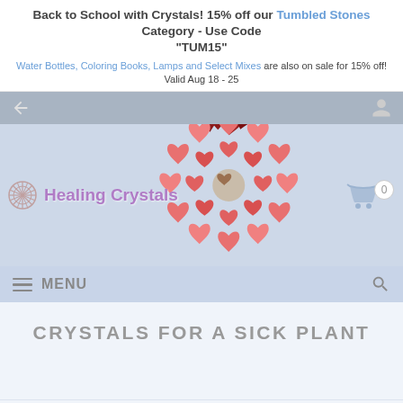Back to School with Crystals! 15% off our Tumbled Stones Category - Use Code "TUM15"
Water Bottles, Coloring Books, Lamps and Select Mixes are also on sale for 15% off! Valid Aug 18 - 25
[Figure (screenshot): Website header navigation bar with back arrow and person icon on gray background]
[Figure (illustration): A decorative ball/sphere made of many pink and red heart shapes arranged in a radial pattern, resembling a coronavirus or dandelion shape]
[Figure (logo): Healing Crystals logo with starburst icon and purple text 'Healing Crystals', shopping cart icon with 0 badge on right]
[Figure (screenshot): Menu navigation bar with hamburger menu icon and MENU text on left, search icon on right, light blue background]
CRYSTALS FOR A SICK PLANT
[Figure (screenshot): Footer bar with share button, social media icons (Facebook, Pinterest, Instagram, YouTube), and ADVANCE SEARCH button]